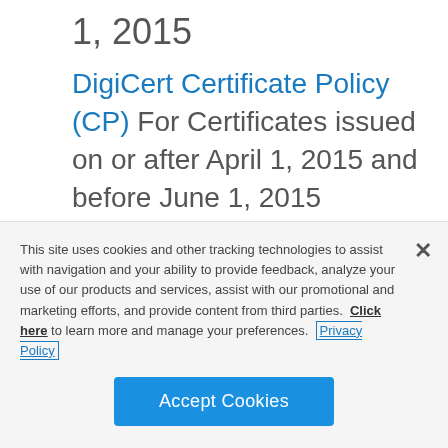1, 2015
DigiCert Certificate Policy (CP) For Certificates issued on or after April 1, 2015 and before June 1, 2015
DigiCert Certification Practices Statement (CPS) For Certificates issued on or after April 1, 2015 and before June
This site uses cookies and other tracking technologies to assist with navigation and your ability to provide feedback, analyze your use of our products and services, assist with our promotional and marketing efforts, and provide content from third parties.  Click here to learn more and manage your preferences.  Privacy Policy
Accept Cookies